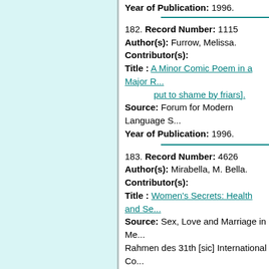Year of Publication: 1996.
182. Record Number: 1115 Author(s): Furrow, Melissa. Contributor(s): Title: A Minor Comic Poem in a Major R... put to shame by friars]. Source: Forum for Modern Language S... Year of Publication: 1996.
183. Record Number: 4626 Author(s): Mirabella, M. Bella. Contributor(s): Title: Women's Secrets: Health and Se... Source: Sex, Love and Marriage in Me... Rahmen des 31th [sic] International Co... University (Kalamazoo-USA) 8.-12. Mai... Spiewok WODAN Bd. 69. Serie 3 Tagur... Ouvrages Collectifs, 40. Reineke-Verl... ( 1996): Pages 33 - 40. Year of Publication: 1996.
184. Record Number: 2541 Author(s): Nolan, Kathleen. Contributor(s): Title: Ploratus et Ululatus: The Mothers... female viewers of the Frieze cared abou... protector of children, and recognized m...